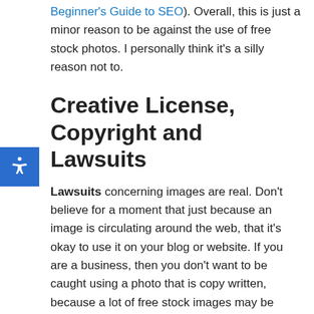Beginner's Guide to SEO). Overall, this is just a minor reason to be against the use of free stock photos. I personally think it's a silly reason not to.
Creative License, Copyright and Lawsuits
Lawsuits concerning images are real. Don't believe for a moment that just because an image is circulating around the web, that it's okay to use it on your blog or website. If you are a business, then you don't want to be caught using a photo that is copy written, because a lot of free stock images may be suitable for personal use (within the realm of fair use), they